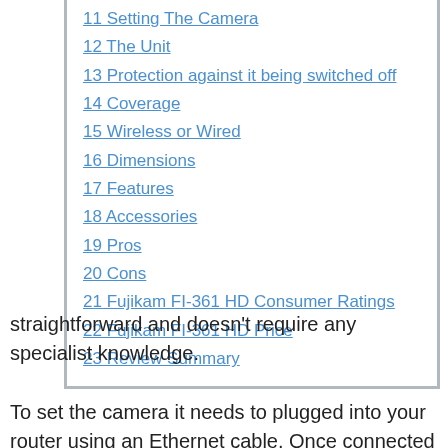11 Setting The Camera
12 The Unit
13 Protection against it being switched off
14 Coverage
15 Wireless or Wired
16 Dimensions
17 Features
18 Accessories
19 Pros
20 Cons
21 Fujikam FI-361 HD Consumer Ratings
22 Fujikam FI-361 HD Price
23 Review Summary
straightforward and doesn't require any specialist knowledge.
To set the camera it needs to plugged into your router using an Ethernet cable. Once connected you need to